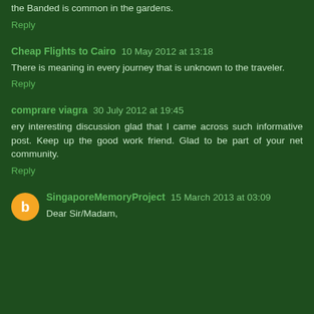the Banded is common in the gardens.
Reply
Cheap Flights to Cairo  10 May 2012 at 13:18
There is meaning in every journey that is unknown to the traveler.
Reply
comprare viagra  30 July 2012 at 19:45
ery interesting discussion glad that I came across such informative post. Keep up the good work friend. Glad to be part of your net community.
Reply
SingaporeMemoryProject  15 March 2013 at 03:09
Dear Sir/Madam,